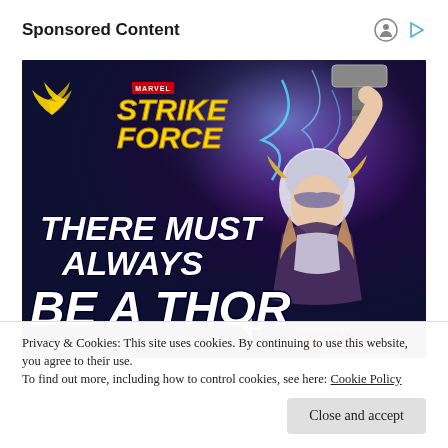Sponsored Content
[Figure (illustration): Marvel Strike Force game advertisement showing a female Thor character wielding a hammer with lightning effects. Text reads 'THERE MUST ALWAYS BE A THOR'. Game logo and 'Inspired by Thor Love and Thunder' movie badge shown.]
Privacy & Cookies: This site uses cookies. By continuing to use this website, you agree to their use.
To find out more, including how to control cookies, see here: Cookie Policy
Close and accept